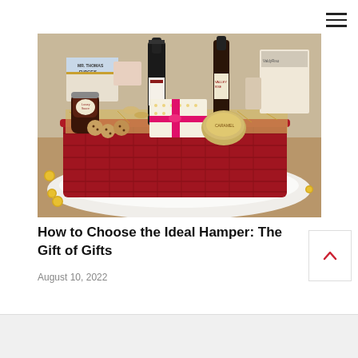[Figure (photo): A red woven hamper basket filled with gourmet food and drink items including wine bottles, Thomas Fudge's biscuits, chocolate boxes with pink ribbon, cookies, caramel tin, and various packaged goods, sitting on a white fur rug on a wooden floor with gold chocolate coins scattered around.]
How to Choose the Ideal Hamper: The Gift of Gifts
August 10, 2022